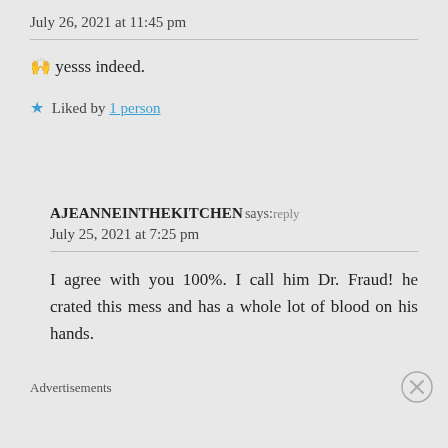July 26, 2021 at 11:45 pm
🙌 yesss indeed.
★ Liked by 1 person
AJEANNEINTHEKITCHEN says: reply
July 25, 2021 at 7:25 pm
I agree with you 100%. I call him Dr. Fraud! he crated this mess and has a whole lot of blood on his hands.
Advertisements